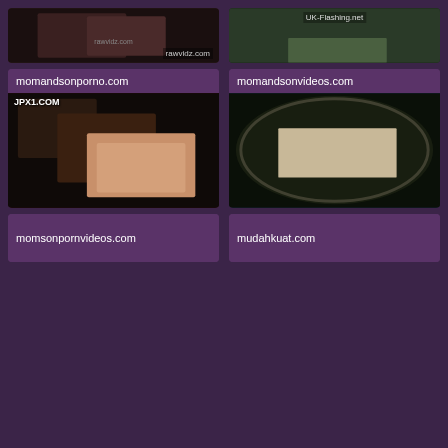[Figure (photo): Thumbnail image with rawvidz.com watermark]
[Figure (photo): Thumbnail image with UK-Flashing.net watermark, outdoor scene]
momandsonporno.com
[Figure (photo): Thumbnail with JPX1.COM watermark]
momandsonvideos.com
[Figure (photo): Thumbnail showing massage scene from above]
momsonpornvideos.com
mudahkuat.com